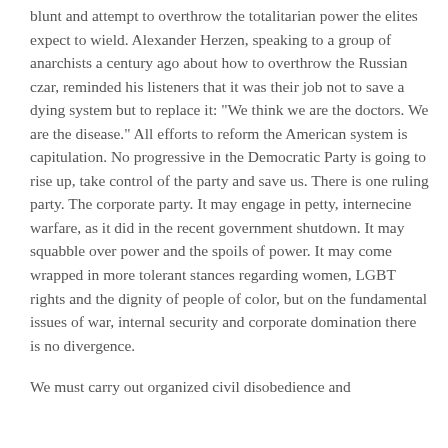blunt and attempt to overthrow the totalitarian power the elites expect to wield. Alexander Herzen, speaking to a group of anarchists a century ago about how to overthrow the Russian czar, reminded his listeners that it was their job not to save a dying system but to replace it: “We think we are the doctors. We are the disease.” All efforts to reform the American system is capitulation. No progressive in the Democratic Party is going to rise up, take control of the party and save us. There is one ruling party. The corporate party. It may engage in petty, internecine warfare, as it did in the recent government shutdown. It may squabble over power and the spoils of power. It may come wrapped in more tolerant stances regarding women, LGBT rights and the dignity of people of color, but on the fundamental issues of war, internal security and corporate domination there is no divergence.
We must carry out organized civil disobedience and